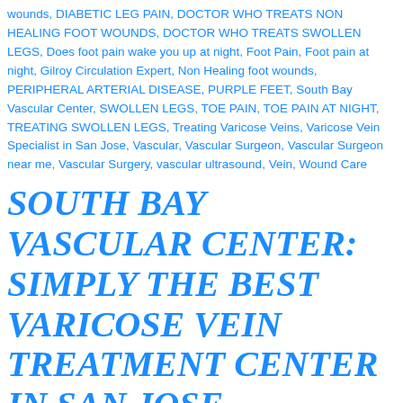wounds, DIABETIC LEG PAIN, DOCTOR WHO TREATS NON HEALING FOOT WOUNDS, DOCTOR WHO TREATS SWOLLEN LEGS, Does foot pain wake you up at night, Foot Pain, Foot pain at night, Gilroy Circulation Expert, Non Healing foot wounds, PERIPHERAL ARTERIAL DISEASE, PURPLE FEET, South Bay Vascular Center, SWOLLEN LEGS, TOE PAIN, TOE PAIN AT NIGHT, TREATING SWOLLEN LEGS, Treating Varicose Veins, Varicose Vein Specialist in San Jose, Vascular, Vascular Surgeon, Vascular Surgeon near me, Vascular Surgery, vascular ultrasound, Vein, Wound Care
SOUTH BAY VASCULAR CENTER: SIMPLY THE BEST VARICOSE VEIN TREATMENT CENTER IN SAN JOSE
Posted on February 1, 2017May 18, 2020 by Angelica